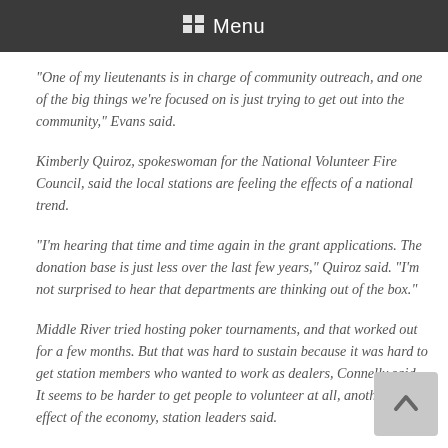Menu
“One of my lieutenants is in charge of community outreach, and one of the big things we’re focused on is just trying to get out into the community,” Evans said.
Kimberly Quiroz, spokeswoman for the National Volunteer Fire Council, said the local stations are feeling the effects of a national trend.
“I’m hearing that time and time again in the grant applications. The donation base is just less over the last few years,” Quiroz said. “I’m not surprised to hear that departments are thinking out of the box.”
Middle River tried hosting poker tournaments, and that worked out for a few months. But that was hard to sustain because it was hard to get station members who wanted to work as dealers, Connelly said. It seems to be harder to get people to volunteer at all, another side effect of the economy, station leaders said.
Less time to volunteer